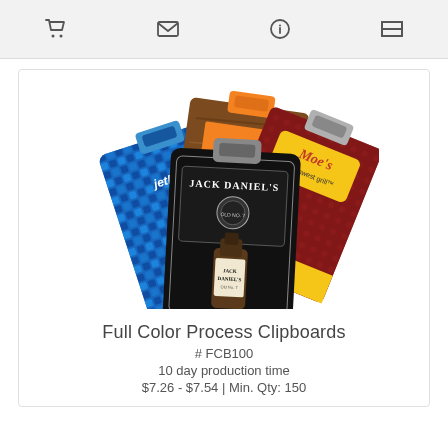[Figure (screenshot): Navigation bar with shopping cart, email/message, info, and list icons on a light gray background]
[Figure (photo): Product photo showing four full color process clipboards fanned out: JetBlue blue clipboard, The Home Depot wood-grain clipboard, Moe's Southwest Grill red clipboard, and Jack Daniel's black clipboard in front]
Full Color Process Clipboards
# FCB100
10 day production time
$7.26 - $7.54 | Min. Qty: 150